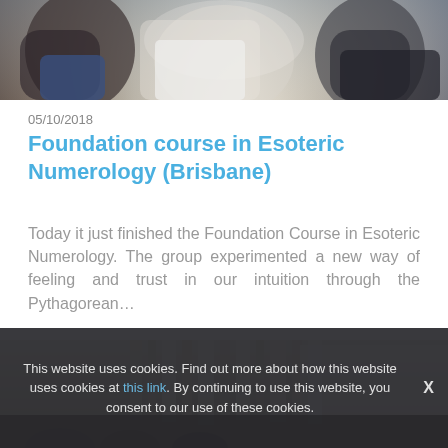[Figure (photo): Cropped photo of people sitting on a couch, showing torsos and legs, light background]
05/10/2018
Foundation course in Esoteric Numerology (Brisbane)
Today it just finished the Foundation Course in Esoteric Numerology. The group experimented a new way of feeling and trust in our intuition through the Pythagorean…
[Figure (photo): Photo of a room with light curtains/drapes and people seated, partially visible at bottom]
This website uses cookies. Find out more about how this website uses cookies at this link. By continuing to use this website, you consent to our use of these cookies.